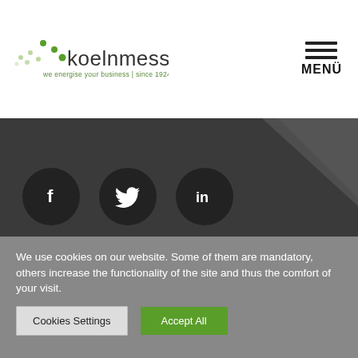[Figure (logo): Koelnmesse logo with green dotted icon and text 'koelnmesse', tagline 'we energise your business | since 1924']
MENÜ
[Figure (infographic): Dark grey background section with three circular social media icons: Facebook (f), Twitter (bird), LinkedIn (in)]
We use cookies on our website. Some of them are mandatory, others increase the functionality of the site and thus the comfort of your visit.
Cookies Settings
Accept All